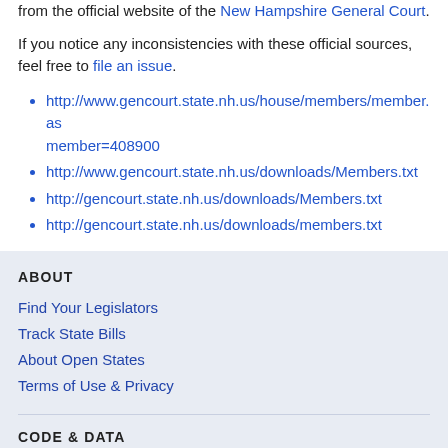from the official website of the New Hampshire General Court.
If you notice any inconsistencies with these official sources, feel free to file an issue.
http://www.gencourt.state.nh.us/house/members/member.asp?member=408900
http://www.gencourt.state.nh.us/downloads/Members.txt
http://gencourt.state.nh.us/downloads/Members.txt
http://gencourt.state.nh.us/downloads/members.txt
ABOUT
Find Your Legislators
Track State Bills
About Open States
Terms of Use & Privacy
CODE & DATA
Code on GitHub
API Documentation
Bulk Data